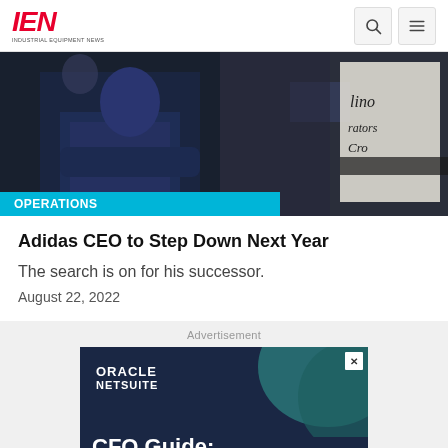IEN - Industrial Equipment News
[Figure (photo): Person standing with arms crossed in dark navy jacket, with a sign partially visible in background reading 'ino rators Cro']
OPERATIONS
Adidas CEO to Step Down Next Year
The search is on for his successor.
August 22, 2022
[Figure (screenshot): Advertisement banner for Oracle NetSuite: CFO Guide: 4 Inflation Metrics (partially visible). Dark navy background with teal blob shape.]